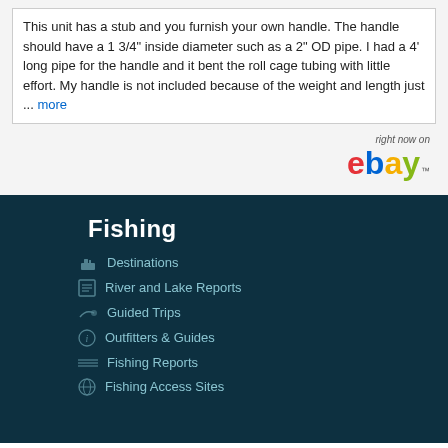This unit has a stub and you furnish your own handle. The handle should have a 1 3/4" inside diameter such as a 2" OD pipe. I had a 4' long pipe for the handle and it bent the roll cage tubing with little effort. My handle is not included because of the weight and length just ... more
[Figure (logo): eBay logo with 'right now on' text above it]
Fishing
Destinations
River and Lake Reports
Guided Trips
Outfitters & Guides
Fishing Reports
Fishing Access Sites